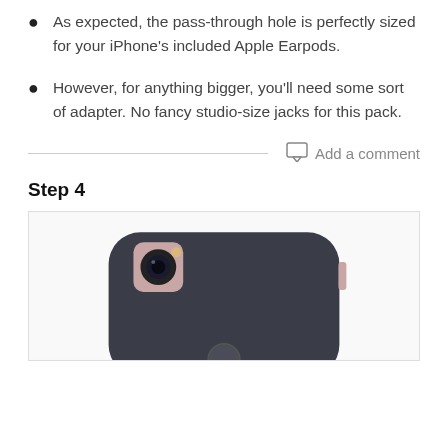As expected, the pass-through hole is perfectly sized for your iPhone's included Apple Earpods.
However, for anything bigger, you'll need some sort of adapter. No fancy studio-size jacks for this pack.
Add a comment
Step 4
[Figure (photo): Photo of an iPhone inside a dark case, showing the back of the phone with camera and rose gold accents visible.]